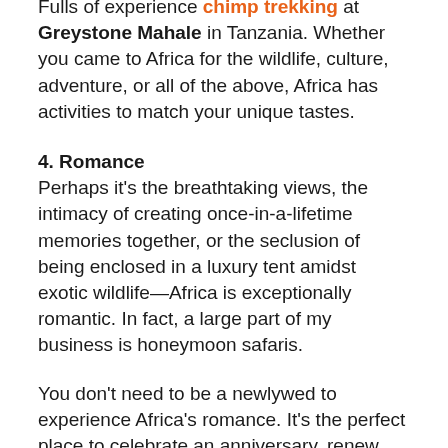Fulls of experience chimp trekking at Greystone Mahale in Tanzania. Whether you came to Africa for the wildlife, culture, adventure, or all of the above, Africa has activities to match your unique tastes.
4. Romance
Perhaps it's the breathtaking views, the intimacy of creating once-in-a-lifetime memories together, or the seclusion of being enclosed in a luxury tent amidst exotic wildlife—Africa is exceptionally romantic. In fact, a large part of my business is honeymoon safaris.
You don't need to be a newlywed to experience Africa's romance. It's the perfect place to celebrate an anniversary, renew your vows or simply reignite the romance in your baby boomer relationship. For example, the Marlin Lodge in Mozambique lays a trail of rose petals up to side-